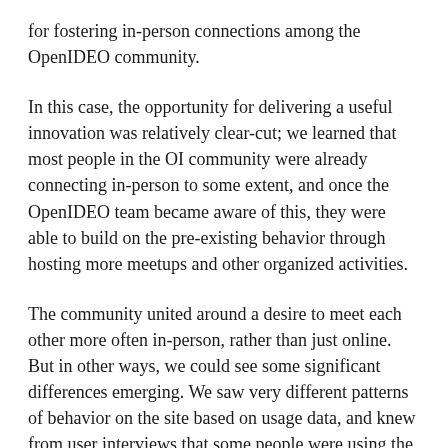for fostering in-person connections among the OpenIDEO community.
In this case, the opportunity for delivering a useful innovation was relatively clear-cut; we learned that most people in the OI community were already connecting in-person to some extent, and once the OpenIDEO team became aware of this, they were able to build on the pre-existing behavior through hosting more meetups and other organized activities.
The community united around a desire to meet each other more often in-person, rather than just online. But in other ways, we could see some significant differences emerging. We saw very different patterns of behavior on the site based on usage data, and knew from user interviews that some people were using the platform as a way to lightly experiment with design thinking, while others were much more deeply involved.
When I'm seeking to uncover useful patterns in a population, I